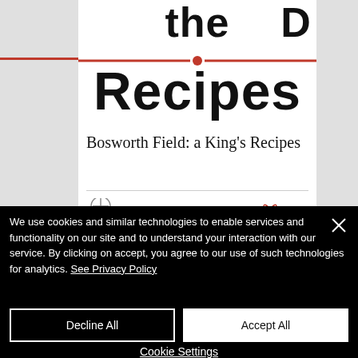the Recipes
Bosworth Field: a King's Recipes
We use cookies and similar technologies to enable services and functionality on our site and to understand your interaction with our service. By clicking on accept, you agree to our use of such technologies for analytics. See Privacy Policy
Decline All
Accept All
Cookie Settings